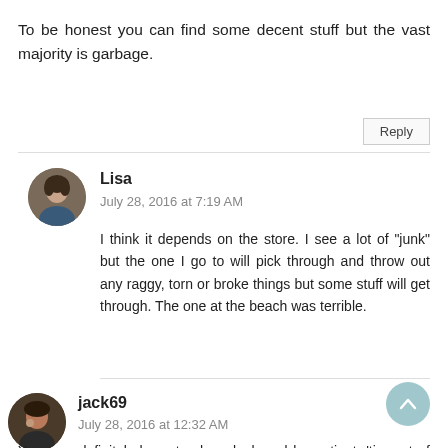To be honest you can find some decent stuff but the vast majority is garbage.
Reply
Lisa
July 28, 2016 at 7:19 AM
I think it depends on the store. I see a lot of "junk" but the one I go to will pick through and throw out any raggy, torn or broke things but some stuff will get through. The one at the beach was terrible.
jack69
July 28, 2016 at 12:32 AM
Yes, you definitely have to shop, look and be patient, 'tis part of the game, sort of a treasure hunt. I have a